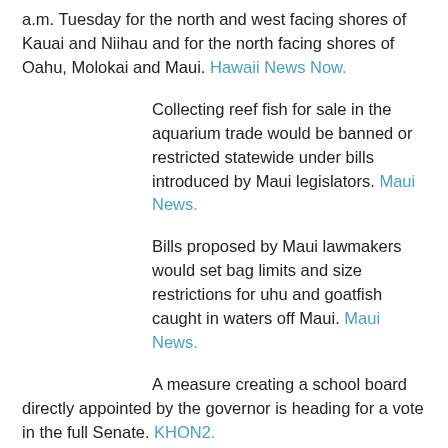a.m. Tuesday for the north and west facing shores of Kauai and Niihau and for the north facing shores of Oahu, Molokai and Maui. Hawaii News Now.
Collecting reef fish for sale in the aquarium trade would be banned or restricted statewide under bills introduced by Maui legislators. Maui News.
Bills proposed by Maui lawmakers would set bag limits and size restrictions for uhu and goatfish caught in waters off Maui. Maui News.
A measure creating a school board directly appointed by the governor is heading for a vote in the full Senate. KHON2.
With gas consumption projected to decrease in coming years, lawmakers are looking for a new way to pay for roads — taxing drivers based on their mileage. Civil Beat.